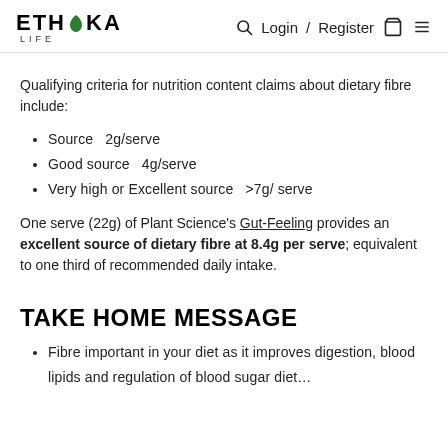ETHIKA LIFE  Login / Register
Qualifying criteria for nutrition content claims about dietary fibre include:
Source  2g/serve
Good source  4g/serve
Very high or Excellent source  >7g/ serve
One serve (22g) of Plant Science's Gut-Feeling provides an excellent source of dietary fibre at 8.4g per serve; equivalent to one third of recommended daily intake.
TAKE HOME MESSAGE
Fibre important in your diet as it improves digestion, blood lipids and regulation of blood sugar diet...